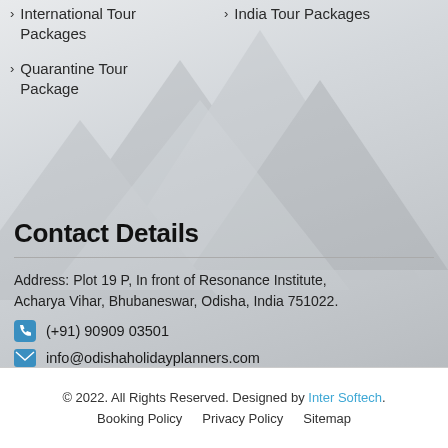International Tour Packages
India Tour Packages
Quarantine Tour Package
Contact Details
Address: Plot 19 P, In front of Resonance Institute, Acharya Vihar, Bhubaneswar, Odisha, India 751022.
(+91) 90909 03501
info@odishaholidayplanners.com
© 2022. All Rights Reserved. Designed by Inter Softech. Booking Policy  Privacy Policy  Sitemap